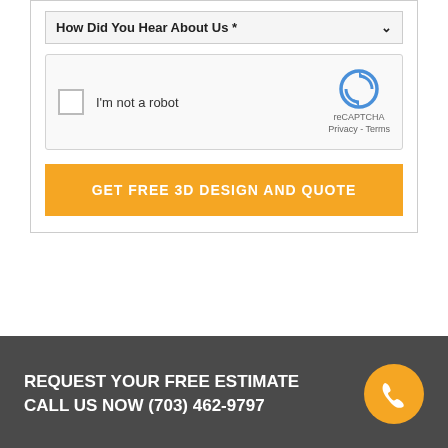[Figure (screenshot): A dropdown form field labeled 'How Did You Hear About Us *' with a chevron arrow on the right]
[Figure (screenshot): A reCAPTCHA widget with checkbox, 'I'm not a robot' text, reCAPTCHA logo, and Privacy/Terms links]
GET FREE 3D DESIGN AND QUOTE
REQUEST YOUR FREE ESTIMATE
CALL US NOW (703) 462-9797